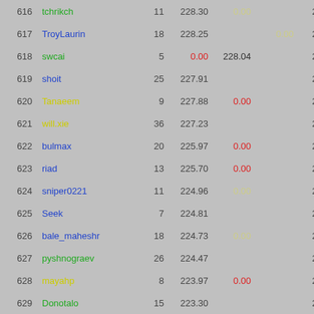| # | Name | N | Score | V1 | V2 | Total |
| --- | --- | --- | --- | --- | --- | --- |
| 616 | tchrikch | 11 | 228.30 | 0.00 |  | 228.30 |
| 617 | TroyLaurin | 18 | 228.25 |  | 0.00 | 228.25 |
| 618 | swcai | 5 | 0.00 | 228.04 |  | 228.04 |
| 619 | shoit | 25 | 227.91 |  |  | 227.91 |
| 620 | Tanaeem | 9 | 227.88 | 0.00 |  | 227.88 |
| 621 | will.xie | 36 | 227.23 |  |  | 227.23 |
| 622 | bulmax | 20 | 225.97 | 0.00 |  | 225.97 |
| 623 | riad | 13 | 225.70 | 0.00 |  | 225.70 |
| 624 | sniper0221 | 11 | 224.96 | 0.00 |  | 224.96 |
| 625 | Seek | 7 | 224.81 |  |  | 224.81 |
| 626 | bale_maheshr | 18 | 224.73 | 0.00 |  | 224.73 |
| 627 | pyshnograev | 26 | 224.47 |  |  | 224.47 |
| 628 | mayahp | 8 | 223.97 | 0.00 |  | 223.97 |
| 629 | Donotalo | 15 | 223.30 |  |  | 223.30 |